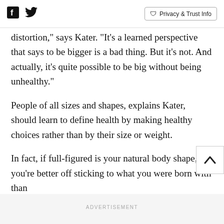Facebook Twitter Privacy & Trust Info
distortion," says Kater. "It's a learned perspective that says to be bigger is a bad thing. But it's not. And actually, it's quite possible to be big without being unhealthy."
People of all sizes and shapes, explains Kater, should learn to define health by making healthy choices rather than by their size or weight.
In fact, if full-figured is your natural body shape, you're better off sticking to what you were born with than
ADVERTISEMENT